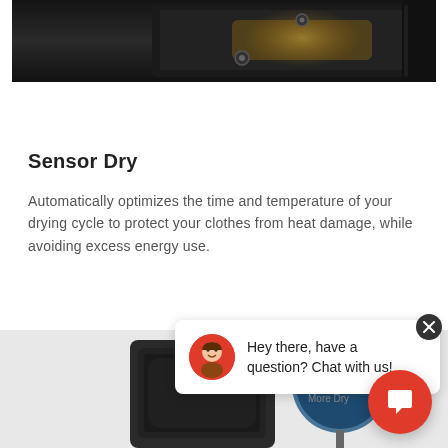[Figure (photo): Top portion of a dark black Samsung appliance (dryer) with control panel showing golden/bronze controls and two circular buttons visible, dark metallic interior]
Sensor Dry
Automatically optimizes the time and temperature of your drying cycle to protect your clothes from heat damage, while avoiding excess energy use.
[Figure (screenshot): Chat widget overlay showing a chat bubble with avatar icon saying 'Hey there, have a question? Chat with us!' with a red FAB button, and below a product image of a Samsung dryer with Vent Sensor dial showing Very Dry and More Dry settings]